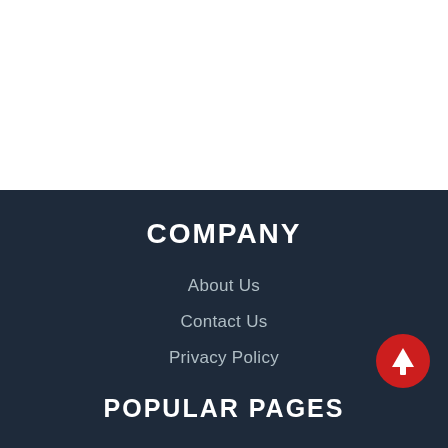COMPANY
About Us
Contact Us
Privacy Policy
POPULAR PAGES
[Figure (illustration): Red circular scroll-to-top button with white upward arrow icon, positioned in the lower right of the dark footer section]